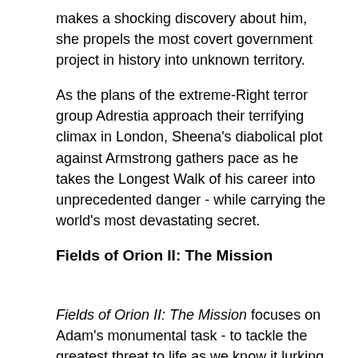makes a shocking discovery about him, she propels the most covert government project in history into unknown territory.
As the plans of the extreme-Right terror group Adrestia approach their terrifying climax in London, Sheena’s diabolical plot against Armstrong gathers pace as he takes the Longest Walk of his career into unprecedented danger - while carrying the world’s most devastating secret.
Fields of Orion II: The Mission
Fields of Orion II: The Mission focuses on Adam’s monumental task - to tackle the greatest threat to life as we know it lurking below the Iraq desert.
On histat...